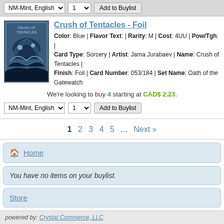NM-Mint, English | 1 | Add to Buylist
[Figure (illustration): Trading card image for Crush of Tentacles - Foil, showing a blue sea monster]
Crush of Tentacles - Foil
Color: Blue | Flavor Text: | Rarity: M | Cost: 4UU | Pow/Tgh: | Card Type: Sorcery | Artist: Jama Jurabaev | Name: Crush of Tentacles | Finish: Foil | Card Number: 053/184 | Set Name: Oath of the Gatewatch
We're looking to buy 4 starting at CAD$ 2.23.
NM-Mint, English | 1 | Add to Buylist
1 2 3 4 5 ... Next »
Home
You have no items on your buylist.
Store
Log In
Full Site
powered by: Crystal Commerce, LLC